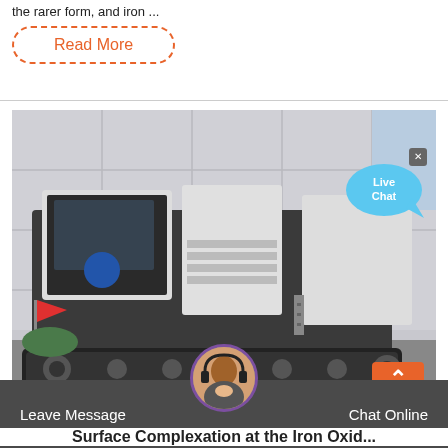the rarer form, and iron ...
Read More
[Figure (photo): Large industrial mobile jaw crusher machine on crawler tracks, parked outside a factory building. Machine is black and white/grey colored. A red flag is visible on the left side. Live Chat bubble appears in upper right of the image.]
Leave Message
Chat Online
Surface Complexation at the Iron Oxid...